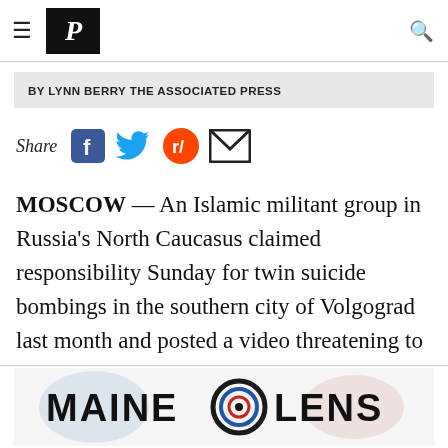P (Portland Press Herald logo navigation)
BY LYNN BERRY THE ASSOCIATED PRESS
Share
MOSCOW — An Islamic militant group in Russia's North Caucasus claimed responsibility Sunday for twin suicide bombings in the southern city of Volgograd last month and posted a video threatening to strike the 2014 Winter Olympics in Sochi.

There had been no previous claim of
[Figure (logo): Maine Lens advertisement banner with logo text and circular lens graphic]